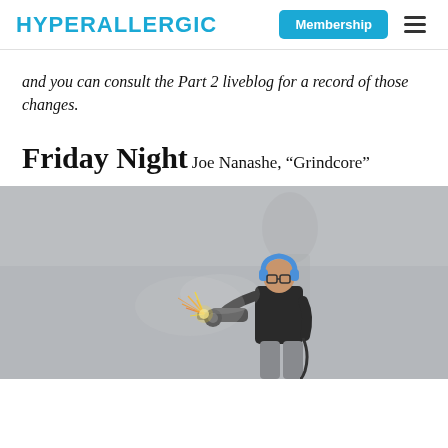HYPERALLERGIC | Membership ☰
and you can consult the Part 2 liveblog for a record of those changes.
Friday Night
Joe Nanashe, “Grindcore”
[Figure (photo): A person wearing headphones and glasses, dressed in a black t-shirt, using an angle grinder that produces bright sparks, standing in front of a grey wall.]